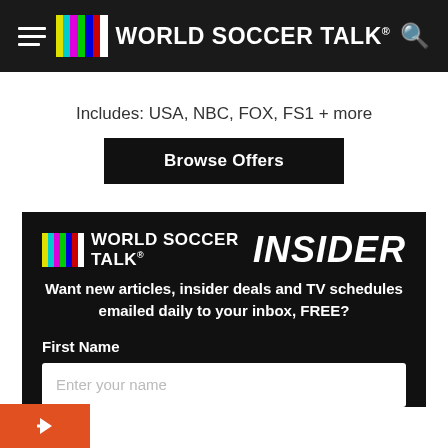WORLD SOCCER TALK
Includes: USA, NBC, FOX, FS1 + more
Browse Offers
[Figure (logo): World Soccer Talk Insider logo with color test bars and italic INSIDER text]
Want new articles, insider deals and TV schedules emailed daily to your inbox, FREE?
First Name
Enter your name